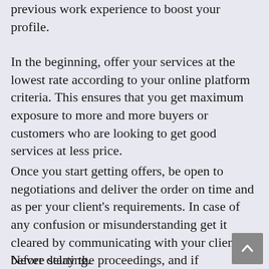previous work experience to boost your profile.
In the beginning, offer your services at the lowest rate according to your online platform criteria. This ensures that you get maximum exposure to more and more buyers or customers who are looking to get good services at less price.
Once you start getting offers, be open to negotiations and deliver the order on time and as per your client’s requirements. In case of any confusion or misunderstanding get it cleared by communicating with your client before starting.
Never delay the proceedings, and if